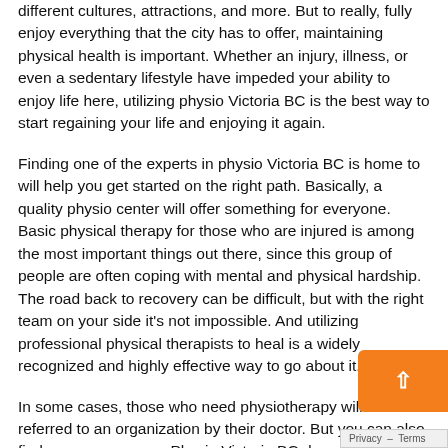different cultures, attractions, and more. But to really, fully enjoy everything that the city has to offer, maintaining physical health is important. Whether an injury, illness, or even a sedentary lifestyle have impeded your ability to enjoy life here, utilizing physio Victoria BC is the best way to start regaining your life and enjoying it again.
Finding one of the experts in physio Victoria BC is home to will help you get started on the right path. Basically, a quality physio center will offer something for everyone. Basic physical therapy for those who are injured is among the most important things out there, since this group of people are often coping with mental and physical hardship. The road back to recovery can be difficult, but with the right team on your side it's not impossible. And utilizing professional physical therapists to heal is a widely recognized and highly effective way to go about it.
In some cases, those who need physiotherapy will be referred to an organization by their doctor. But you can also find one on your own. Physio Victoria BC doesn't always mean the kind of physical therapy provided in an